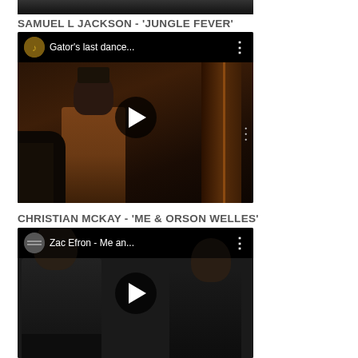[Figure (screenshot): Cropped top portion of a YouTube video thumbnail, partially visible at top of page]
SAMUEL L JACKSON - 'JUNGLE FEVER'
[Figure (screenshot): YouTube video embed showing 'Gator's last dance...' with channel icon and play button. Scene shows a figure in a brown coat at a door. Dark cinematic still from the film Jungle Fever.]
CHRISTIAN MCKAY - 'ME & ORSON WELLES'
[Figure (screenshot): YouTube video embed showing 'Zac Efron - Me an...' with channel icon and play button. Scene shows two men in dark suits in conversation. From the film Me & Orson Welles.]